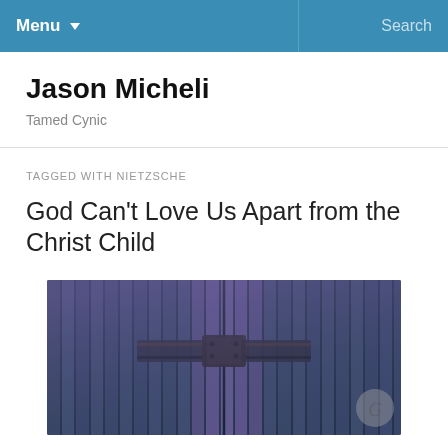Menu   Search
Jason Micheli
Tamed Cynic
TAGGED WITH NIETZSCHE
God Can't Love Us Apart from the Christ Child
[Figure (photo): Dark blue weathered wooden barn doors with a metal cross-bar latch, illuminated with a purple/blue tint. A watermark circle is visible in the lower right corner.]